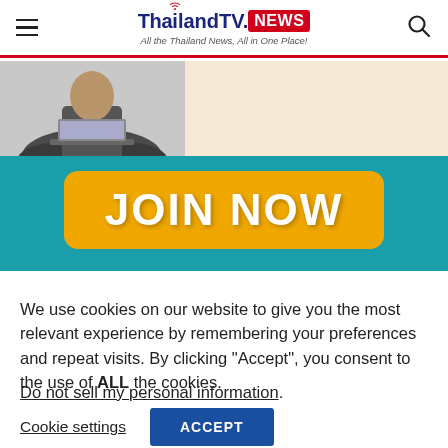ThailandTV.NEWS — All the Thailand News, All in One Place!
[Figure (illustration): Banner with a person sitting cross-legged with a laptop on a cream background, overlaid with a teal band and a large golden 'JOIN NOW' button]
We use cookies on our website to give you the most relevant experience by remembering your preferences and repeat visits. By clicking “Accept”, you consent to the use of ALL the cookies.
Do not sell my personal information.
Cookie settings
ACCEPT